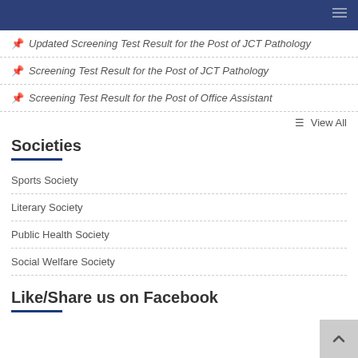Updated Screening Test Result for the Post of JCT Pathology
Screening Test Result for the Post of JCT Pathology
Screening Test Result for the Post of Office Assistant
View All
Societies
Sports Society
Literary Society
Public Health Society
Social Welfare Society
Like/Share us on Facebook